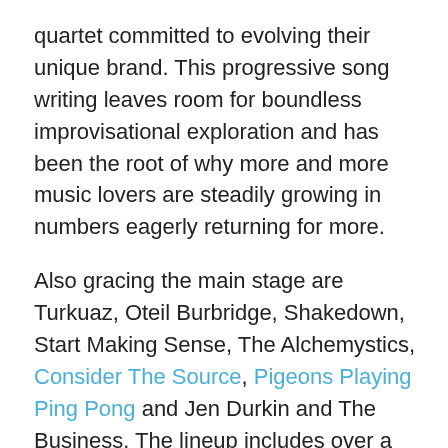quartet committed to evolving their unique brand. This progressive song writing leaves room for boundless improvisational exploration and has been the root of why more and more music lovers are steadily growing in numbers eagerly returning for more.
Also gracing the main stage are Turkuaz, Oteil Burbridge, Shakedown, Start Making Sense, The Alchemystics, Consider The Source, Pigeons Playing Ping Pong and Jen Durkin and The Business. The lineup includes over a dozen musical acts from the Pioneer Valley area, and the roster is heavy with acts from around New England and the Northeast.  See below for the full line-up.
The festival will also feature a local farmers' market, craft and food vending, a community bonfire, roaming performers, fire spinning performances, Family Camping with children's